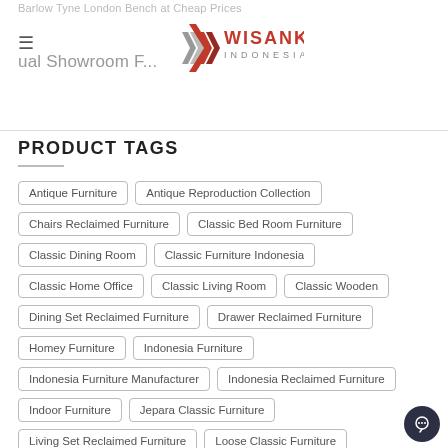Barlow Tyne London Bench at Cheap Prices
[Figure (logo): Wisanka Indonesia logo with chevron/arrow mark in red/brown and grey, with text WISANKA INDONESIA]
Virtual Showroom F...
PRODUCT TAGS
Antique Furniture
Antique Reproduction Collection
Chairs Reclaimed Furniture
Classic Bed Room Furniture
Classic Dining Room
Classic Furniture Indonesia
Classic Home Office
Classic Living Room
Classic Wooden
Dining Set Reclaimed Furniture
Drawer Reclaimed Furniture
Homey Furniture
Indonesia Furniture
Indonesia Furniture Manufacturer
Indonesia Reclaimed Furniture
Indoor Furniture
Jepara Classic Furniture
Living Set Reclaimed Furniture
Loose Classic Furniture
Miscellaneous Reclaimed Furniture
Modern Wooden Furniture